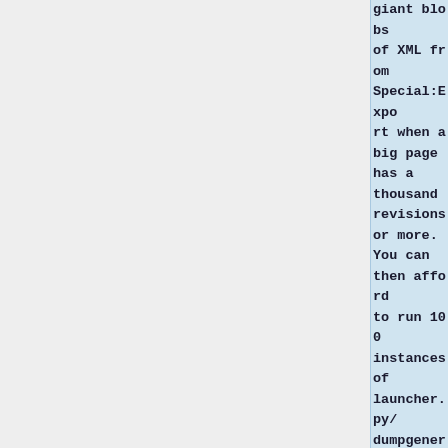giant blobs of XML from Special:Export when a big page has a thousand revisions or more. You can then afford to run 100 instances of launcher.py/dumpgenerator.py with just 2 cores and 8 GiB of RAM. Watch your ulimit for